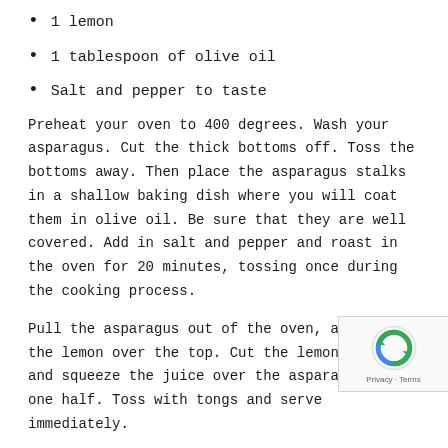1 lemon
1 tablespoon of olive oil
Salt and pepper to taste
Preheat your oven to 400 degrees. Wash your asparagus. Cut the thick bottoms off. Toss the bottoms away. Then place the asparagus stalks in a shallow baking dish where you will coat them in olive oil. Be sure that they are well covered. Add in salt and pepper and roast in the oven for 20 minutes, tossing once during the cooking process.
Pull the asparagus out of the oven, and zest the lemon over the top. Cut the lemon in half and squeeze the juice over the asparagus from one half. Toss with tongs and serve immediately.
Spinach Salad With Peppers